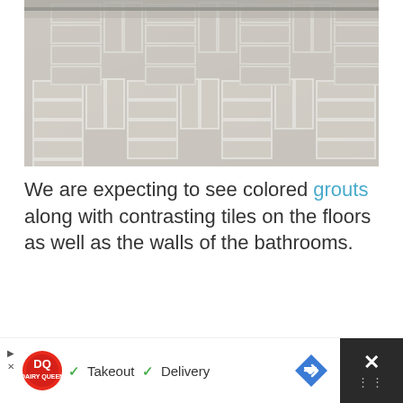[Figure (photo): Close-up photograph of a herringbone-patterned tile floor in light gray/beige tones with white grout lines, with a mirror or glass edge visible at the top.]
We are expecting to see colored grouts along with contrasting tiles on the floors as well as the walls of the bathrooms.
[Figure (other): Advertisement banner: Dairy Queen (DQ) logo with checkmarks next to 'Takeout' and 'Delivery', navigation arrow icon, and a close (X) button area on the right side on black background.]